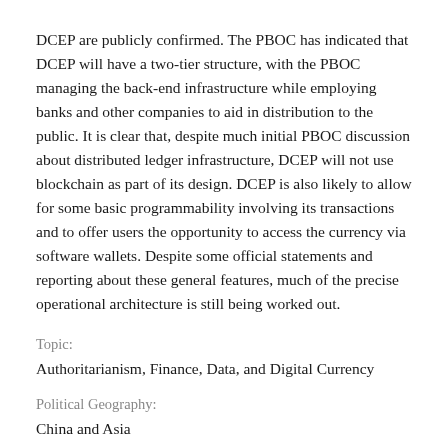DCEP are publicly confirmed. The PBOC has indicated that DCEP will have a two-tier structure, with the PBOC managing the back-end infrastructure while employing banks and other companies to aid in distribution to the public. It is clear that, despite much initial PBOC discussion about distributed ledger infrastructure, DCEP will not use blockchain as part of its design. DCEP is also likely to allow for some basic programmability involving its transactions and to offer users the opportunity to access the currency via software wallets. Despite some official statements and reporting about these general features, much of the precise operational architecture is still being worked out.
Topic:
Authoritarianism, Finance, Data, and Digital Currency
Political Geography:
China and Asia